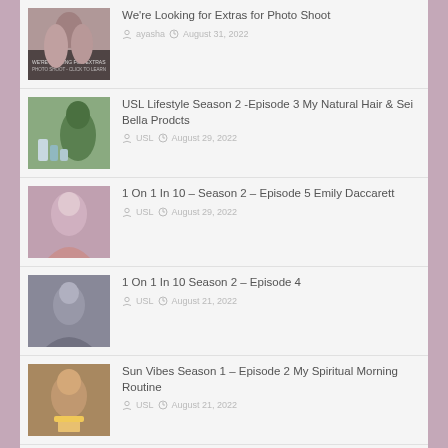We're Looking for Extras for Photo Shoot — ayasha · August 31, 2022
USL Lifestyle Season 2 -Episode 3 My Natural Hair & Sei Bella Prodcts — USL · August 29, 2022
1 On 1 In 10 – Season 2 – Episode 5 Emily Daccarett — USL · August 29, 2022
1 On 1 In 10 Season 2 – Episode 4 — USL · August 21, 2022
Sun Vibes Season 1 – Episode 2 My Spiritual Morning Routine — USL · August 21, 2022
USL Lifestyle Season 2 - Episode 2